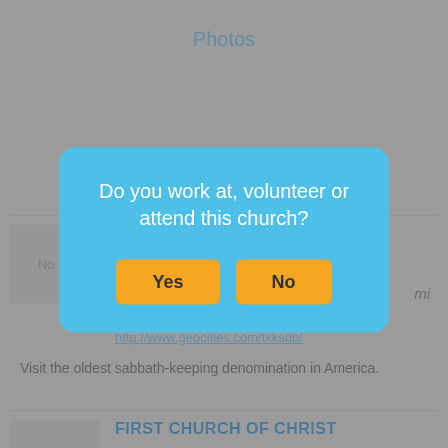Photos
List   Grid
No Image
mi
txksdb@yahoo.com
http://www.geocities.com/txksdb/
Visit the oldest sabbath-keeping denomination in America.
FIRST CHURCH OF CHRIST
[Figure (screenshot): Modal dialog overlay on a church directory website asking 'Do you work at, volunteer or attend this church?' with Yes and No buttons in orange on a sky-blue background.]